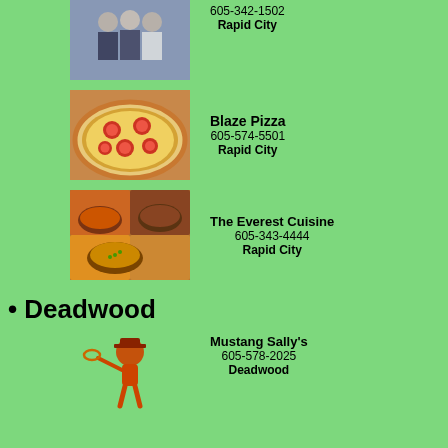[Figure (photo): Partial top photo of people/restaurant, cropped at top of page]
605-342-1502
Rapid City
[Figure (photo): Photo of a pizza with tomatoes and cheese]
Blaze Pizza
605-574-5501
Rapid City
[Figure (photo): Photo of Indian cuisine dishes with curry and various foods]
The Everest Cuisine
605-343-4444
Rapid City
• Deadwood
[Figure (logo): Mustang Sally's logo with cartoon character]
Mustang Sally's
605-578-2025
Deadwood